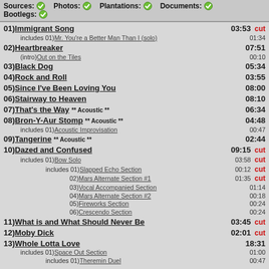Sources: ✓   Photos: ✓   Plantations: ✓   Documents: ✓   Bootlegs: ✓
01) Immigrant Song  03:53 cut
includes 01) Mr. You're a Better Man Than I (solo)  01:34
02) Heartbreaker  07:51
(intro) Out on the Tiles  00:10
03) Black Dog  05:34
04) Rock and Roll  03:55
05) Since I've Been Loving You  08:00
06) Stairway to Heaven  08:10
07) That's the Way ** Acoustic **  06:34
08) Bron-Y-Aur Stomp ** Acoustic **  04:48
includes 01) Acoustic Improvisation  00:47
09) Tangerine ** Acoustic **  02:44
10) Dazed and Confused  09:15 cut
includes 01) Bow Solo  03:58 cut
includes 01) Slapped Echo Section  00:12 cut
02) Mars Alternate Section #1  01:35 cut
03) Vocal Accompanied Section  01:14
04) Mars Alternate Section #2  00:18
05) Fireworks Section  00:24
06) Crescendo Section  00:24
11) What is and What Should Never Be  03:45 cut
12) Moby Dick  02:01 cut
13) Whole Lotta Love  18:31
includes 01) Space Out Section  01:00
includes 01) Theremin Duel  00:47